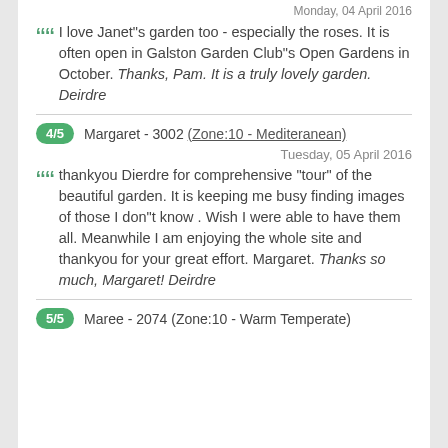Monday, 04 April 2016
““ I love Janet"s garden too - especially the roses. It is often open in Galston Garden Club"s Open Gardens in October. Thanks, Pam. It is a truly lovely garden. Deirdre
4/5   Margaret - 3002 (Zone:10 - Mediteranean)
Tuesday, 05 April 2016
““ thankyou Dierdre for comprehensive "tour" of the beautiful garden. It is keeping me busy finding images of those I don"t know . Wish I were able to have them all. Meanwhile I am enjoying the whole site and thankyou for your great effort. Margaret. Thanks so much, Margaret! Deirdre
5/5   Maree - 2074 (Zone:10 - Warm Temperate)